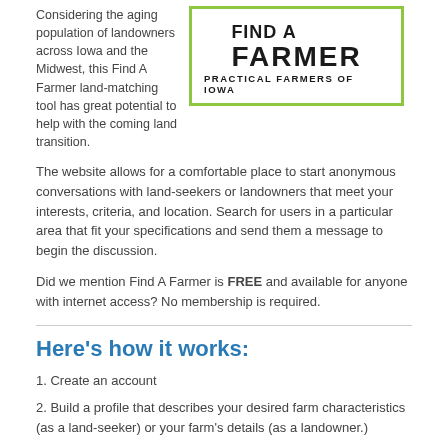Considering the aging population of landowners across Iowa and the Midwest, this Find A Farmer land-matching tool has great potential to help with the coming land transition.
[Figure (logo): Find A Farmer logo with green border, bold text reading FIND A FARMER and subtitle PRACTICAL FARMERS OF IOWA]
The website allows for a comfortable place to start anonymous conversations with land-seekers or landowners that meet your interests, criteria, and location. Search for users in a particular area that fit your specifications and send them a message to begin the discussion.
Did we mention Find A Farmer is FREE and available for anyone with internet access? No membership is required.
Here’s how it works:
1. Create an account
2. Build a profile that describes your desired farm characteristics (as a land-seeker) or your farm’s details (as a landowner).